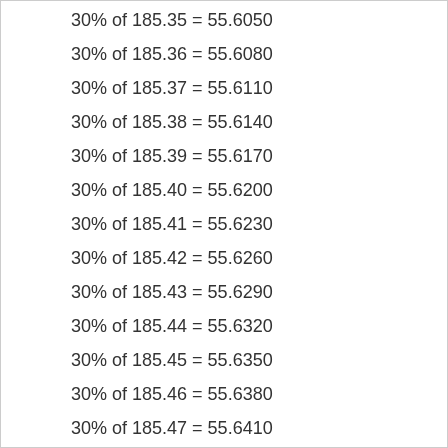30% of 185.35 = 55.6050
30% of 185.36 = 55.6080
30% of 185.37 = 55.6110
30% of 185.38 = 55.6140
30% of 185.39 = 55.6170
30% of 185.40 = 55.6200
30% of 185.41 = 55.6230
30% of 185.42 = 55.6260
30% of 185.43 = 55.6290
30% of 185.44 = 55.6320
30% of 185.45 = 55.6350
30% of 185.46 = 55.6380
30% of 185.47 = 55.6410
30% of 185.48 = 55.6440